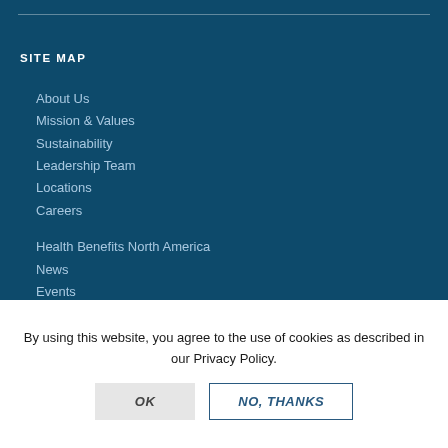SITE MAP
About Us
Mission & Values
Sustainability
Leadership Team
Locations
Careers
Health Benefits North America
News
Events
Newsletter
By using this website, you agree to the use of cookies as described in our Privacy Policy.
OK
NO, THANKS